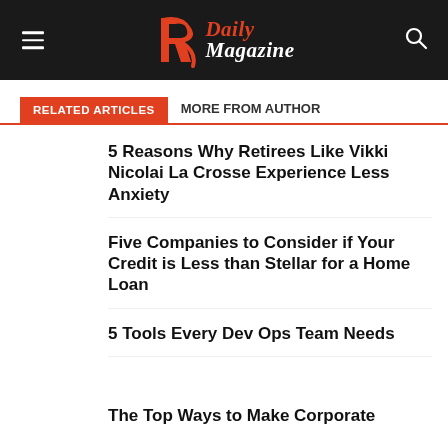R Daily Magazine
RELATED ARTICLES | MORE FROM AUTHOR
5 Reasons Why Retirees Like Vikki Nicolai La Crosse Experience Less Anxiety
Five Companies to Consider if Your Credit is Less than Stellar for a Home Loan
5 Tools Every Dev Ops Team Needs
The Top Ways to Make Corporate